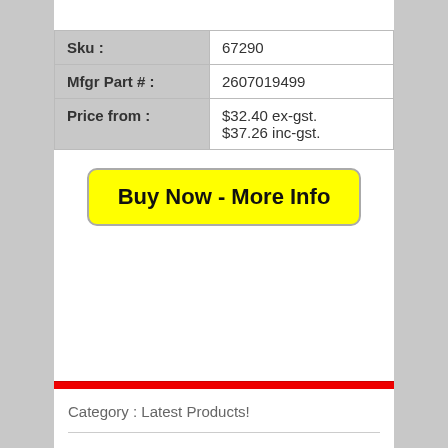| Sku : | 67290 |
| Mfgr Part # : | 2607019499 |
| Price from : | $32.40 ex-gst.
$37.26 inc-gst. |
Buy Now - More Info
Category : Latest Products!
Bosch 25Pc 93X230Mm Promoline, Mixed, B&D